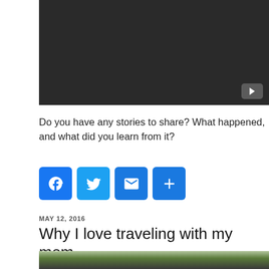[Figure (screenshot): Dark video player with YouTube play button in bottom-right corner]
Do you have any stories to share? What happened, and what did you learn from it?
[Figure (other): Social sharing buttons: Facebook, Twitter, Email, More]
MAY 12, 2016
Why I love traveling with my mom
[Figure (photo): Outdoor photo showing green vegetation, fields, and foliage]